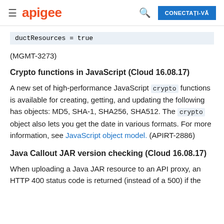apigee  CONECTAȚI-VĂ
ductResources = true
(MGMT-3273)
Crypto functions in JavaScript (Cloud 16.08.17)
A new set of high-performance JavaScript crypto functions is available for creating, getting, and updating the following has objects: MD5, SHA-1, SHA256, SHA512. The crypto object also lets you get the date in various formats. For more information, see JavaScript object model. (APIRT-2886)
Java Callout JAR version checking (Cloud 16.08.17)
When uploading a Java JAR resource to an API proxy, an HTTP 400 status code is returned (instead of a 500) if the